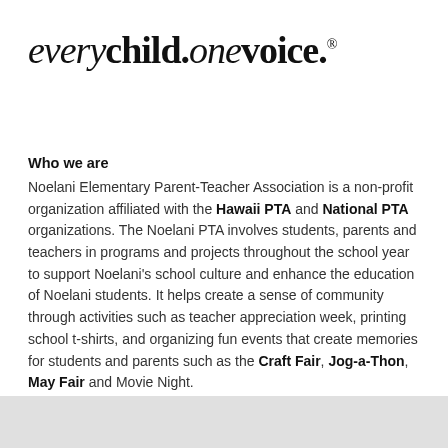[Figure (logo): every child. one voice. logo in large italic serif font with registered trademark symbol]
Who we are
Noelani Elementary Parent-Teacher Association is a non-profit organization affiliated with the Hawaii PTA and National PTA organizations. The Noelani PTA involves students, parents and teachers in programs and projects throughout the school year to support Noelani’s school culture and enhance the education of Noelani students. It helps create a sense of community through activities such as teacher appreciation week, printing school t-shirts, and organizing fun events that create memories for students and parents such as the Craft Fair, Jog-a-Thon, May Fair and Movie Night.